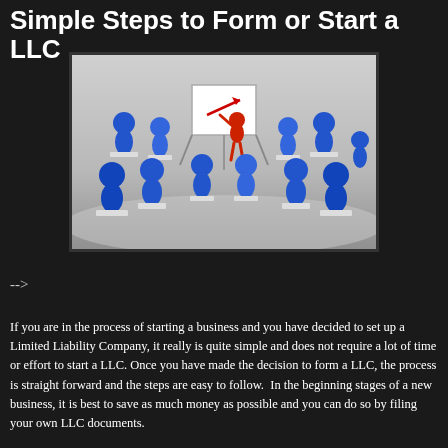Simple Steps to Form or Start a LLC
[Figure (illustration): 3D blue cartoon figures sitting at desks in a classroom setting, with a red figure at the front pointing at a whiteboard/easel.]
-->
If you are in the process of starting a business and you have decided to set up a Limited Liability Company, it really is quite simple and does not require a lot of time or effort to start a LLC. Once you have made the decision to form a LLC, the process is straight forward and the steps are easy to follow.  In the beginning stages of a new business, it is best to save as much money as possible and you can do so by filing your own LLC documents.